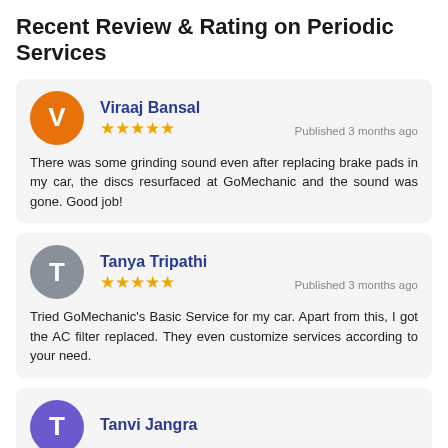Recent Review & Rating on Periodic Services
Viraaj Bansal — Published 3 months ago — ★★★★★ — There was some grinding sound even after replacing brake pads in my car, the discs resurfaced at GoMechanic and the sound was gone. Good job!
Tanya Tripathi — Published 3 months ago — ★★★★★ — Tried GoMechanic's Basic Service for my car. Apart from this, I got the AC filter replaced. They even customize services according to your need.
Tanvi Jangra — (partial, review cut off)